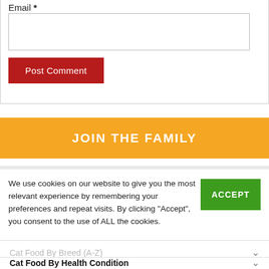Email *
Post Comment
JOIN THE FAMILY
We use cookies on our website to give you the most relevant experience by remembering your preferences and repeat visits. By clicking "Accept", you consent to the use of ALL the cookies.
ACCEPT
TOP RATED CAT FOOD
Cat Food By Breed (A-Z)
Cat Food By Health Condition
Cat Food For Sensitive Cats
Cat Treats